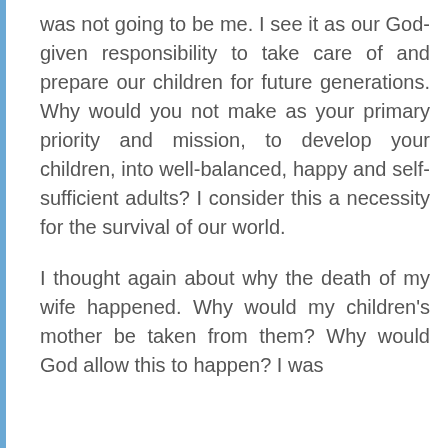was not going to be me. I see it as our God-given responsibility to take care of and prepare our children for future generations. Why would you not make as your primary priority and mission, to develop your children, into well-balanced, happy and self-sufficient adults? I consider this a necessity for the survival of our world.
I thought again about why the death of my wife happened. Why would my children's mother be taken from them? Why would God allow this to happen? I was